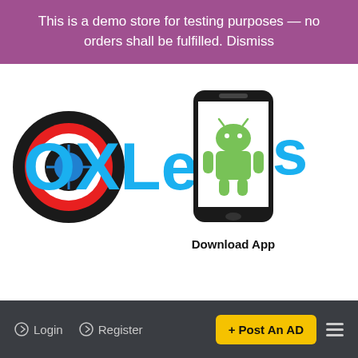This is a demo store for testing purposes — no orders shall be fulfilled. Dismiss
[Figure (logo): OXLeads logo with target/crosshair icon on the left, blue bold text 'OXLeads', and a smartphone with Android robot icon on the right with 'Download App' label below]
Login   Register   + Post An AD   (hamburger menu)